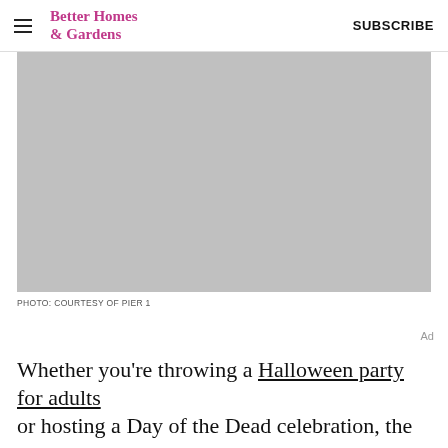Better Homes & Gardens | SUBSCRIBE
[Figure (photo): Gray placeholder image of Halloween party decoration content from Pier 1]
PHOTO: COURTESY OF PIER 1
Ad
Whether you're throwing a Halloween party for adults or hosting a Day of the Dead celebration, the way you decorate